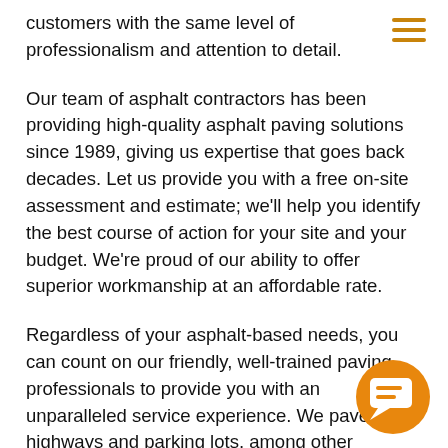customers with the same level of professionalism and attention to detail.
Our team of asphalt contractors has been providing high-quality asphalt paving solutions since 1989, giving us expertise that goes back decades. Let us provide you with a free on-site assessment and estimate; we'll help you identify the best course of action for your site and your budget. We're proud of our ability to offer superior workmanship at an affordable rate.
Regardless of your asphalt-based needs, you can count on our friendly, well-trained paving professionals to provide you with an unparalleled service experience. We pave highways and parking lots, among other projects of varying scales. We're even on call as driveway experts in Memphis, TN! Additionally, we offer tar and chip paving, parking lot maintenance, parking lot sweeping, and stone
[Figure (illustration): Orange circular chat bubble icon with speech bubble graphic in the bottom-right corner]